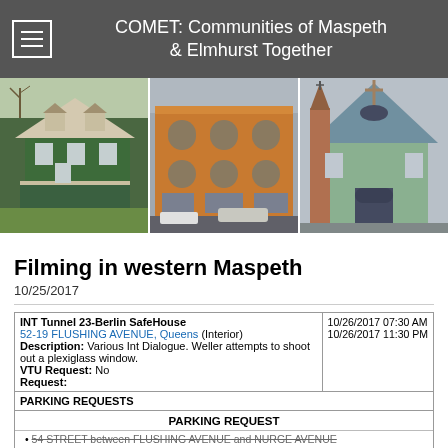COMET: Communities of Maspeth & Elmhurst Together
[Figure (photo): Three photographs side by side showing buildings in Maspeth/Elmhurst neighborhoods: a green Victorian house, an orange brick commercial building with arched windows, and a modern church with a tall steeple.]
Filming in western Maspeth
10/25/2017
| Location/Description | Dates |
| --- | --- |
| INT Tunnel 23-Berlin SafeHouse
52-19 FLUSHING AVENUE, Queens (Interior)
Description: Various Int Dialogue. Weller attempts to shoot out a plexiglass window.
VTU Request: No
Request: | 10/26/2017 07:30 AM
10/26/2017 11:30 PM |
| PARKING REQUESTS

PARKING REQUEST
54 STREET between FLUSHING AVENUE and NURGE AVENUE
  Street Side: North and South
  Street Control: 1/7 Block |  |